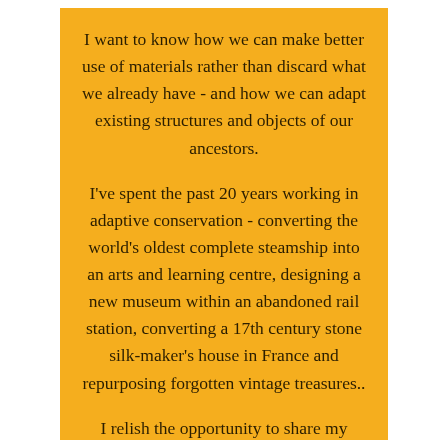I want to know how we can make better use of materials rather than discard what we already have - and how we can adapt existing structures and objects of our ancestors.
I've spent the past 20 years working in adaptive conservation - converting the world's oldest complete steamship into an arts and learning centre, designing a new museum within an abandoned rail station, converting a 17th century stone silk-maker's house in France and repurposing forgotten vintage treasures..
I relish the opportunity to share my